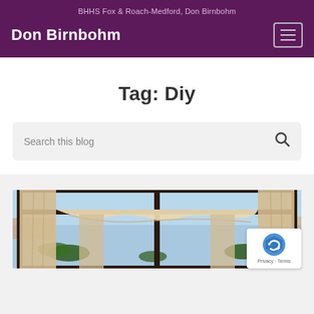BHHS Fox & Roach-Medford, Don Birnbohm
Don Birnbohm
Tag: Diy
Search this blog
[Figure (photo): Outdoor cabana or pergola with flowing cream/tan curtains and fabric canopy, viewed through glass doors, with palm trees and blue sky visible in background]